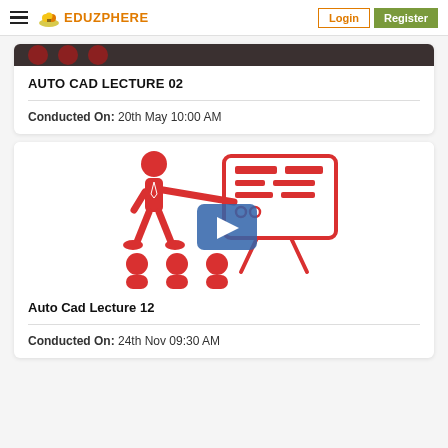EDUZPHERE | Login | Register
[Figure (screenshot): Partial card top showing dark background with three red avatar circles for AUTO CAD LECTURE 02]
AUTO CAD LECTURE 02
Conducted On: 20th May 10:00 AM
[Figure (illustration): Red stick figure teacher with presentation board, blue play button overlay, three red seated audience figures]
Auto Cad Lecture 12
Conducted On: 24th Nov 09:30 AM